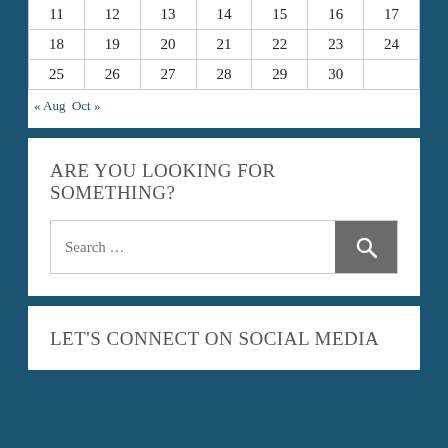| 11 | 12 | 13 | 14 | 15 | 16 | 17 |
| 18 | 19 | 20 | 21 | 22 | 23 | 24 |
| 25 | 26 | 27 | 28 | 29 | 30 |  |
« Aug  Oct »
ARE YOU LOOKING FOR SOMETHING?
Search ...
LET'S CONNECT ON SOCIAL MEDIA